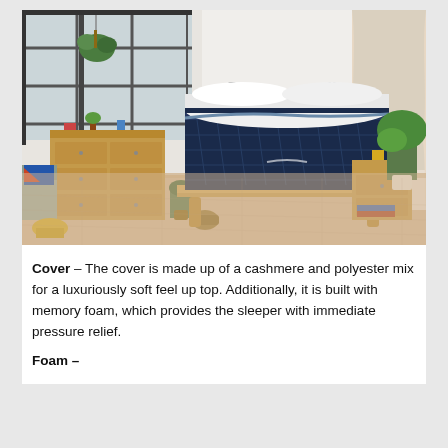[Figure (photo): A bedroom scene with a navy blue and white mattress on a wooden bed frame with angled legs, centered on light hardwood floors. A wooden dresser is on the left, a wooden nightstand on the right, a blue and orange decorative pillow on a grey chair far left, hanging plants by a large industrial window on the left, and a potted plant with curtains on the right.]
Cover – The cover is made up of a cashmere and polyester mix for a luxuriously soft feel up top. Additionally, it is built with memory foam, which provides the sleeper with immediate pressure relief.
Foam –